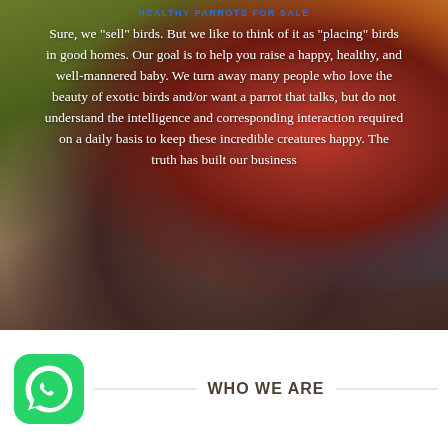HEALTHY PARROTS FOR SALE
[Figure (photo): A colorful scarlet macaw parrot perched on a branch, showing vivid red, yellow, and blue feathers against a blurred natural background]
Sure, we "sell" birds. But we like to think of it as "placing" birds in good homes. Our goal is to help you raise a happy, healthy, and well-mannered baby. We turn away many people who love the beauty of exotic birds and/or want a parrot that talks, but do not understand the intelligence and corresponding interaction required on a daily basis to keep these incredible creatures happy. The truth has built our business
[Figure (logo): WhatsApp logo icon — green rounded square with white speech bubble phone icon]
WHO WE ARE